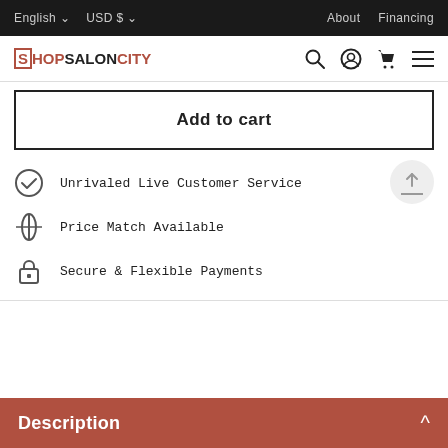English USD $ About Financing
[Figure (logo): ShopSalonCity logo with search, account, cart, and menu icons]
Add to cart
Unrivaled Live Customer Service
Price Match Available
Secure & Flexible Payments
Description